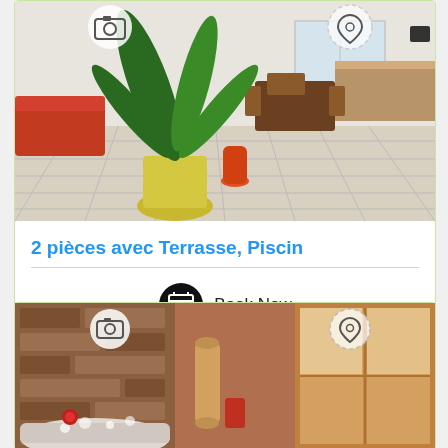[Figure (photo): Interior room photo showing a living/dining area with tiled floor, a large potted plant, red sofa, dining table with chairs, and kitchen counter area in the background. Camera and map pin icons overlaid at top.]
2 pièces avec Terrasse, Piscin
Book Now
[Figure (photo): Interior bathroom/spa room photo showing a jacuzzi bathtub, stone tile wall accent, and wooden window. Camera and map pin icons overlaid at top.]